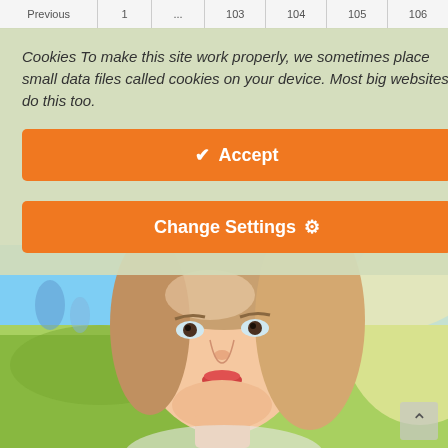Previous | 1 | ... | 103 | 104 | 105 | 106
Cookies To make this site work properly, we sometimes place small data files called cookies on your device. Most big websites do this too.
Accept
Change Settings
[Figure (photo): Close-up photo of a young woman with blonde hair, outdoors in a sunny park setting with green grass and a bright blue sky in the background. The woman is smiling slightly and looking at the camera.]